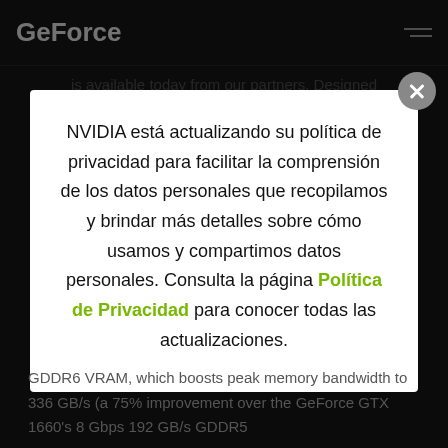GeForce
is available today from our partners. Designed
NVIDIA está actualizando su política de privacidad para facilitar la comprensión de los datos personales que recopilamos y brindar más detalles sobre cómo usamos y compartimos datos personales. Consulta la página Política de Privacidad para conocer todas las actualizaciones.
GDDR6 VRAM, which boosts peak memory bandwidth to 336 GB/s (a 75% improvement over the GeForce GTX 1660's 8 Gbps 192 GB/s GDDR5